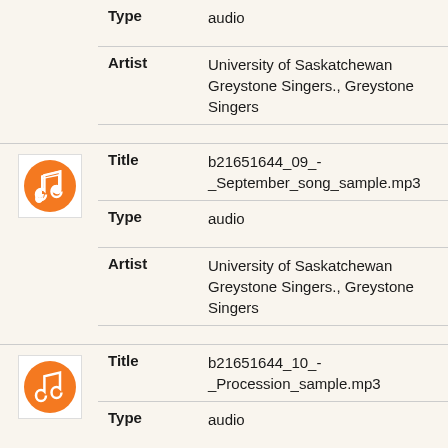| Field | Value |
| --- | --- |
| Type | audio |
| Artist | University of Saskatchewan Greystone Singers., Greystone Singers |
[Figure (other): Orange circle music note icon]
| Field | Value |
| --- | --- |
| Title | b21651644_09_-_September_song_sample.mp3 |
| Type | audio |
| Artist | University of Saskatchewan Greystone Singers., Greystone Singers |
[Figure (other): Orange circle music note icon]
| Field | Value |
| --- | --- |
| Title | b21651644_10_-_Procession_sample.mp3 |
| Type | audio |
| Artist | University of Saskatchewan Greystone Singers., Greystone |